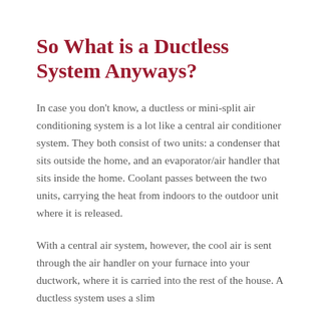So What is a Ductless System Anyways?
In case you don't know, a ductless or mini-split air conditioning system is a lot like a central air conditioner system. They both consist of two units: a condenser that sits outside the home, and an evaporator/air handler that sits inside the home. Coolant passes between the two units, carrying the heat from indoors to the outdoor unit where it is released.
With a central air system, however, the cool air is sent through the air handler on your furnace into your ductwork, where it is carried into the rest of the house. A ductless system uses a slim